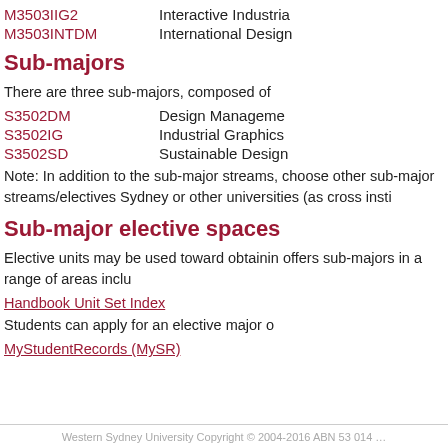M3503IIG2   Interactive Industria…
M3503INTDM   International Design…
Sub-majors
There are three sub-majors, composed of
S3502DM   Design Management
S3502IG   Industrial Graphics
S3502SD   Sustainable Design…
Note: In addition to the sub-major streams, choose other sub-major streams/electives Sydney or other universities (as cross insti…
Sub-major elective spaces
Elective units may be used toward obtaining offers sub-majors in a range of areas inclu…
Handbook Unit Set Index
Students can apply for an elective major o…
MyStudentRecords (MySR)
Western Sydney University Copyright © 2004-2016 ABN 53 014 …